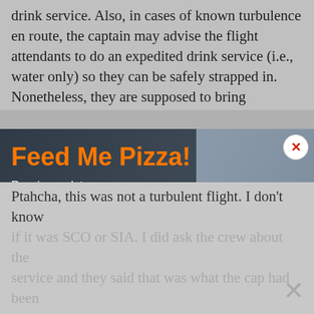drink service. Also, in cases of known turbulence en route, the captain may advise the flight attendants to do an expedited drink service (i.e., water only) so they can be safely strapped in. Nonetheless, they are supposed to bring
[Figure (photo): Modal popup overlay on a webpage. Left side has orange 'Feed Me Pizza!' heading, subscription text about latest deals, promotions, trip reviews, product reviews, hotel reviews and travel tips, an email input field, and an orange 'SUBSCRIBE NOW' button with 'No Thanks' link below. Background photo shows a man with glasses in black and white. White close button with red X in top right corner.]
Ptahcha, this was not a turbulent flight. I don't know if it was SCO or SIA. I did ask the crew about the service and they said that was what the cap had been